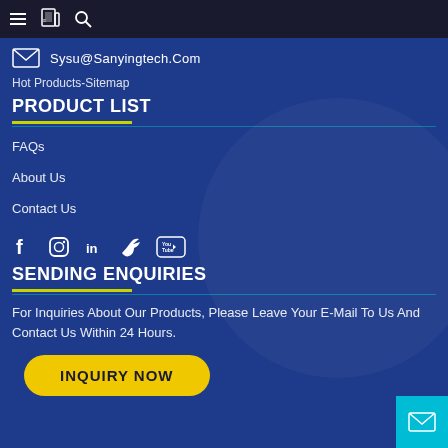navigation bar with menu, book, and search icons
Sysu@Sanyingtech.Com
Hot Products-Sitemap
PRODUCT LIST
FAQs
About Us
Contact Us
[Figure (other): Social media icons: Facebook, Instagram, LinkedIn, Twitter, YouTube]
SENDING ENQUIRIES
For Inquiries About Our Products, Please Leave Your E-Mail To Us And Contact Us Within 24 Hours.
INQUIRY NOW